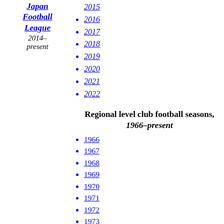Japan Football League 2014–present
2016
2017
2018
2019
2020
2021
2022
Regional level club football seasons, 1966–present
1966
1967
1968
1969
1970
1971
1972
1973
1974
1975
1976
1977
1978
1979